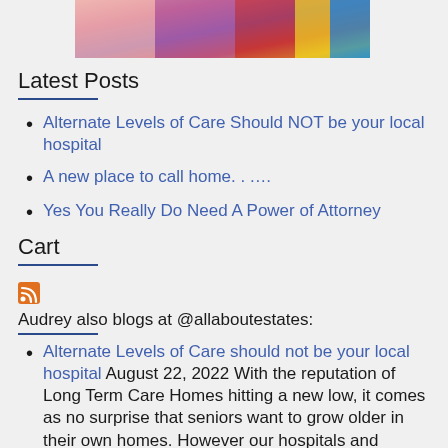[Figure (photo): Partial view of a photo showing people, cropped at top of page]
Latest Posts
Alternate Levels of Care Should NOT be your local hospital
A new place to call home……
Yes You Really Do Need A Power of Attorney
Cart
[Figure (other): RSS feed icon (orange square with white wifi-style symbol)]
Audrey also blogs at @allaboutestates:
Alternate Levels of Care should not be your local hospital August 22, 2022 With the reputation of Long Term Care Homes hitting a new low, it comes as no surprise that seniors want to grow older in their own homes. However our hospitals and